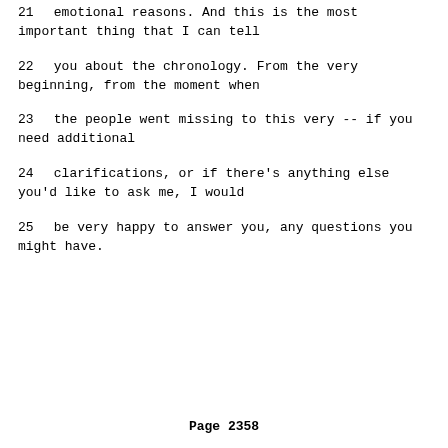21     emotional reasons.  And this is the most important thing that I can tell
22     you about the chronology.  From the very beginning, from the moment when
23     the people went missing to this very -- if you need additional
24     clarifications, or if there's anything else you'd like to ask me, I would
25     be very happy to answer you, any questions you might have.
Page 2358